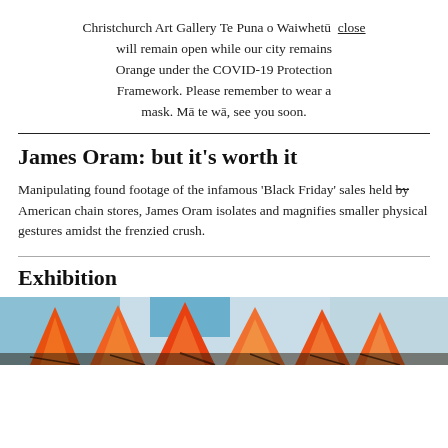Christchurch Art Gallery Te Puna o Waiwhetū will remain open while our city remains Orange under the COVID-19 Protection Framework. Please remember to wear a mask. Mā te wā, see you soon. close
James Oram: but it's worth it
Manipulating found footage of the infamous 'Black Friday' sales held by American chain stores, James Oram isolates and magnifies smaller physical gestures amidst the frenzied crush.
Exhibition
[Figure (photo): Colourful abstract painting showing flame-like orange, yellow and blue shapes on a textured background]